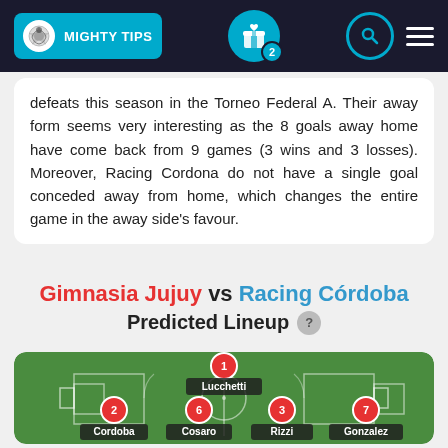MIGHTY TIPS
defeats this season in the Torneo Federal A. Their away form seems very interesting as the 8 goals away home have come back from 9 games (3 wins and 3 losses). Moreover, Racing Cordona do not have a single goal conceded away from home, which changes the entire game in the away side's favour.
Gimnasia Jujuy vs Racing Córdoba Predicted Lineup
[Figure (illustration): Soccer pitch diagram showing predicted lineup with players: Lucchetti (1, goalkeeper), Cordoba (2), Cosaro (6), Rizzi (3), Gonzalez (7)]